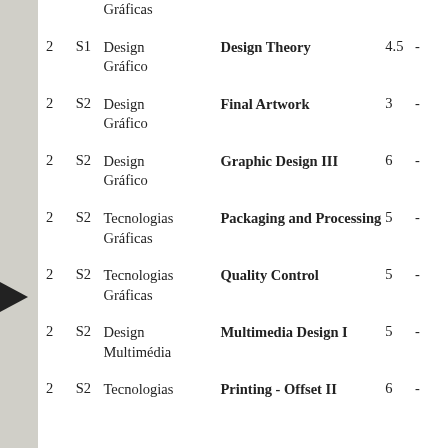| Year | Sem | Department | Subject | Credits |  |
| --- | --- | --- | --- | --- | --- |
|  |  | Gráficas |  |  |  |
| 2 | S1 | Design Gráfico | Design Theory | 4.5 | - |
| 2 | S2 | Design Gráfico | Final Artwork | 3 | - |
| 2 | S2 | Design Gráfico | Graphic Design III | 6 | - |
| 2 | S2 | Tecnologias Gráficas | Packaging and Processing | 5 | - |
| 2 | S2 | Tecnologias Gráficas | Quality Control | 5 | - |
| 2 | S2 | Design Multimédia | Multimedia Design I | 5 | - |
| 2 | S2 | Tecnologias | Printing - Offset II | 6 | - |